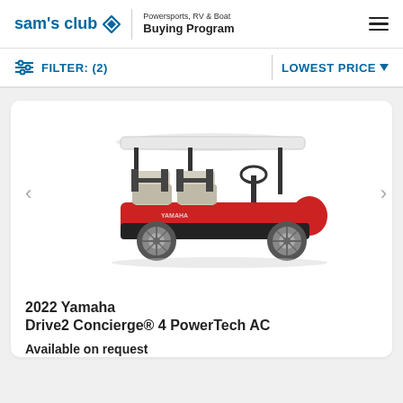sam's club | Powersports, RV & Boat Buying Program
FILTER: (2)   LOWEST PRICE
[Figure (photo): Red Yamaha Drive2 Concierge 4 PowerTech AC golf cart with white roof, multiple seats, and black frame, shown in side profile view on white background]
2022 Yamaha Drive2 Concierge® 4 PowerTech AC
Available on request